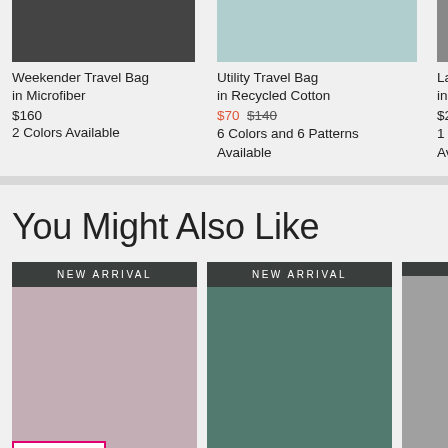[Figure (photo): Product photo - Weekender Travel Bag in Microfiber (top, cropped)]
Weekender Travel Bag
in Microfiber
$160
2 Colors Available
[Figure (photo): Product photo - Utility Travel Bag in Recycled Cotton (top, cropped)]
Utility Travel Bag
in Recycled Cotton
$70  $140
6 Colors and 6 Patterns Available
[Figure (photo): Product photo - Lay F... in Tra... (partially visible)]
Lay F
in Tra
$200
1 Col
Avail
You Might Also Like
[Figure (photo): New Arrival product card - mauve/pink colored bag placeholder]
[Figure (photo): New Arrival product card - green colored bag placeholder]
[Figure (photo): New Arrival product card - gray (partially visible)]